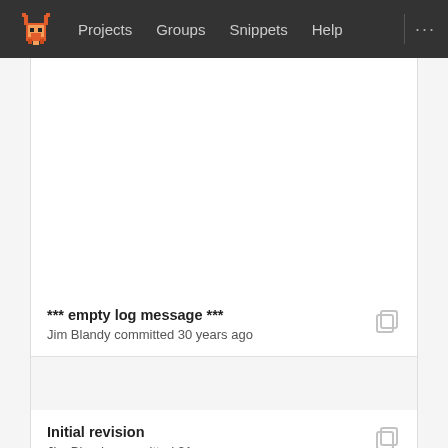Projects  Groups  Snippets  Help
*** empty log message ***
Jim Blandy committed 30 years ago
Initial revision
Jim Blandy committed 31 years ago